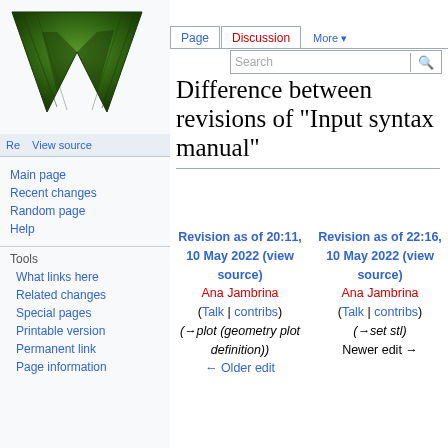Create account  Log in
[Figure (logo): Wikipedia W logo in green and black]
Re  View source  More  Search
Difference between revisions of "Input syntax manual"
Main page
Recent changes
Random page
Help
Tools
What links here
Related changes
Special pages
Printable version
Permanent link
Page information
Revision as of 20:11, 10 May 2022 (view source)
Ana Jambrina
(Talk | contribs)
(→plot (geometry plot definition))
← Older edit
Revision as of 22:16, 10 May 2022 (view source)
Ana Jambrina
(Talk | contribs)
(→set stl)
Newer edit →